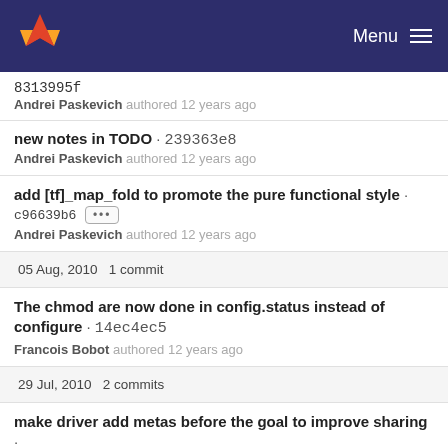Menu
8313995f
Andrei Paskevich authored 12 years ago
new notes in TODO · 239363e8
Andrei Paskevich authored 12 years ago
add [tf]_map_fold to promote the pure functional style · c96639b6 ···
Andrei Paskevich authored 12 years ago
05 Aug, 2010 1 commit
The chmod are now done in config.status instead of configure · 14ec4ec5
Francois Bobot authored 12 years ago
29 Jul, 2010 2 commits
make driver add metas before the goal to improve sharing · 81c8133a ···
Andrei Paskevich authored 12 years ago